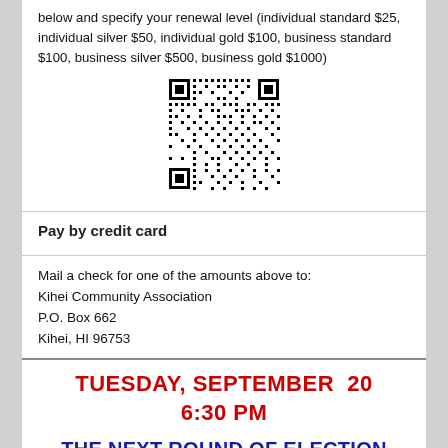below and specify your renewal level (individual standard $25, individual silver $50, individual gold $100, business standard $100, business silver $500, business gold $1000)
[Figure (other): QR code for payment/renewal]
Pay by credit card
Mail a check for one of the amounts above to:
Kihei Community Association
P.O. Box 662
Kihei, HI 96753
TUESDAY, SEPTEMBER 20
6:30 PM
THE NEXT ROUND OF ELECTION CANDIDATES
This will be the third of our series of candidate forums to get to know those running for